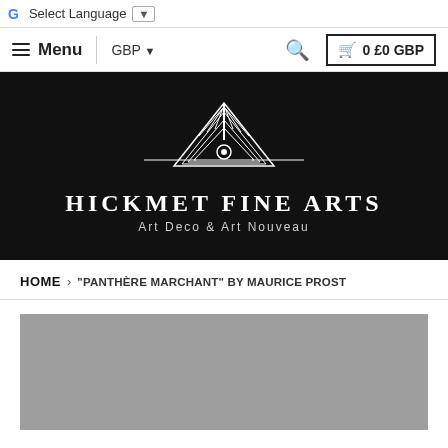G Select Language ▼
≡ Menu  GBP ▼  🔍  🛒 0 £0 GBP
[Figure (logo): Hickmet Fine Arts logo with Art Deco geometric emblem on black background. Text reads: HICKMET FINE ARTS / Art Deco & Art Nouveau]
HOME › "PANTHÈRE MARCHANT" BY MAURICE PROST
[Figure (photo): Grey placeholder product image area]